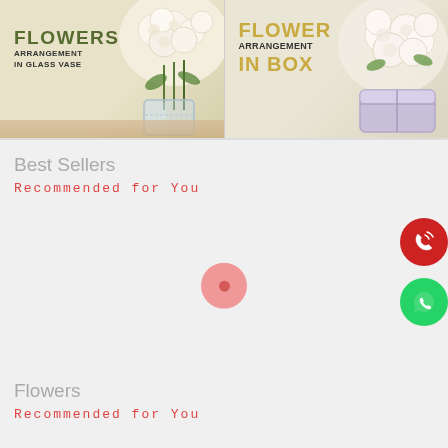[Figure (photo): Two flower arrangement banners side by side. Left: white roses in a glass vase with text 'FLOWERS ARRANGEMENT IN GLASS VASE'. Right: white flower arrangement in a decorative box with text 'FLOWER ARRANGEMENT IN BOX'.]
Best Sellers
Recommended for You
[Figure (other): Loading spinner area - pink circle with inner dot indicating content loading, with red phone button and green WhatsApp button on right side]
Flowers
Recommended for You